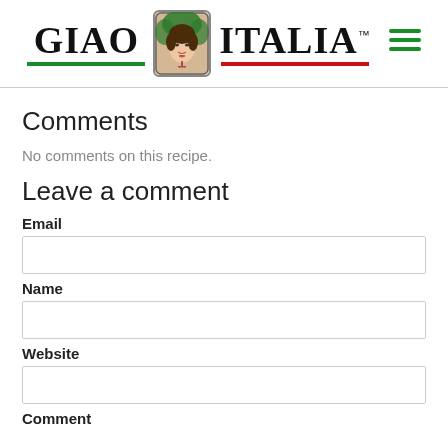[Figure (logo): Giao Italia logo with green underline under GIAO, a central illustrated image of a woman holding a wine glass surrounded by grape leaves in a rounded square border, ITALIA text with red underline and TM superscript, and a green hamburger menu icon on the right]
Comments
No comments on this recipe.
Leave a comment
Email
Name
Website
Comment